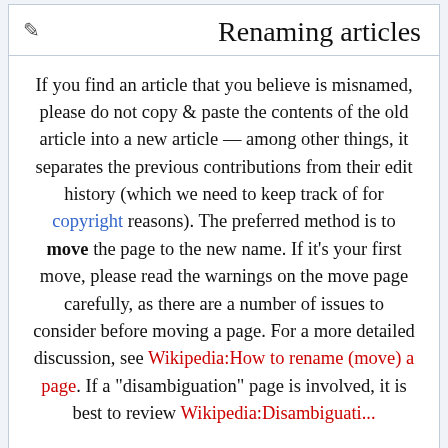Renaming articles
If you find an article that you believe is misnamed, please do not copy & paste the contents of the old article into a new article — among other things, it separates the previous contributions from their edit history (which we need to keep track of for copyright reasons). The preferred method is to move the page to the new name. If it's your first move, please read the warnings on the move page carefully, as there are a number of issues to consider before moving a page. For a more detailed discussion, see Wikipedia:How to rename (move) a page. If a "disambiguation" page is involved, it is best to review Wikipedia:Disambiguation...